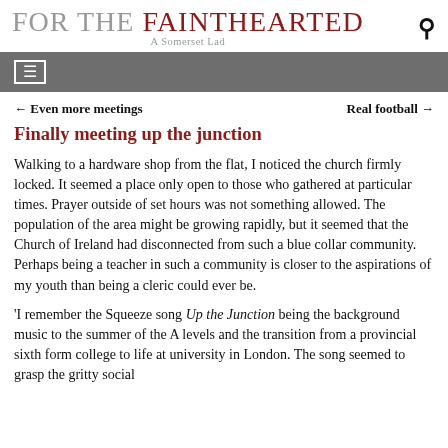For the Fainthearted — A Somerset Lad
≡ (navigation menu)
← Even more meetings    Real football →
Finally meeting up the junction
Walking to a hardware shop from the flat, I noticed the church firmly locked. It seemed a place only open to those who gathered at particular times. Prayer outside of set hours was not something allowed. The population of the area might be growing rapidly, but it seemed that the Church of Ireland had disconnected from such a blue collar community. Perhaps being a teacher in such a community is closer to the aspirations of my youth than being a cleric could ever be.
'I remember the Squeeze song Up the Junction being the background music to the summer of the A levels and the transition from a provincial sixth form college to life at university in London. The song seemed to grasp the gritty social